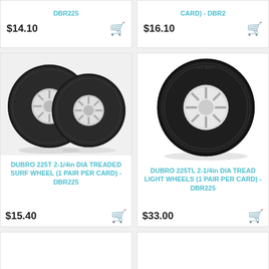DBR225
$14.10
CARD) - DBR2
$16.10
[Figure (photo): Two dark grey foam rubber wheels with white plastic hubs, side by side, product photo on light grey background]
DUBRO 225T 2-1/4in DIA TREADED SURF WHEEL (1 PAIR PER CARD) - DBR225
$15.40
[Figure (photo): Single large dark grey foam rubber wheel with white plastic hub, slight angle view, on white background with shadow]
DUBRO 225TL 2-1/4in DIA TREAD LIGHT WHEELS (1 PAIR PER CARD) - DBR225
$33.00